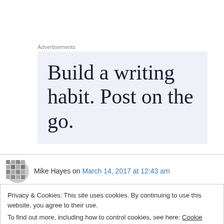Advertisements
[Figure (other): Advertisement banner with light blue-gray background showing text: Build a writing habit. Post on the go.]
Mike Hayes on March 14, 2017 at 12:43 am
Privacy & Cookies: This site uses cookies. By continuing to use this website, you agree to their use.
To find out more, including how to control cookies, see here: Cookie Policy
Close and accept